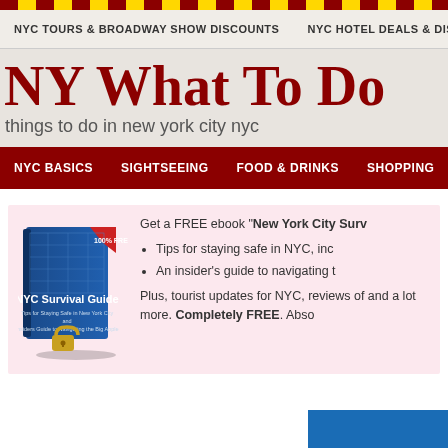NYC TOURS & BROADWAY SHOW DISCOUNTS | NYC HOTEL DEALS & DIS
NY What To Do
things to do in new york city nyc
NYC BASICS | SIGHTSEEING | FOOD & DRINKS | SHOPPING | EN
[Figure (illustration): Book cover of NYC Survival Guide with a padlock graphic, labeled 100% FREE]
Get a FREE ebook "New York City Surv
Tips for staying safe in NYC, inc
An insider's guide to navigating t
Plus, tourist updates for NYC, reviews of and a lot more. Completely FREE. Abso
[Figure (screenshot): Blue image stub at bottom right corner]